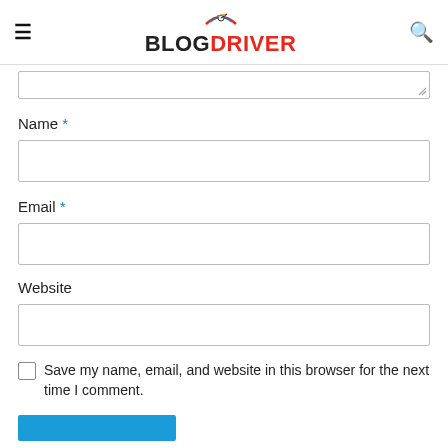BLOGDRIVER
Name *
Email *
Website
Save my name, email, and website in this browser for the next time I comment.